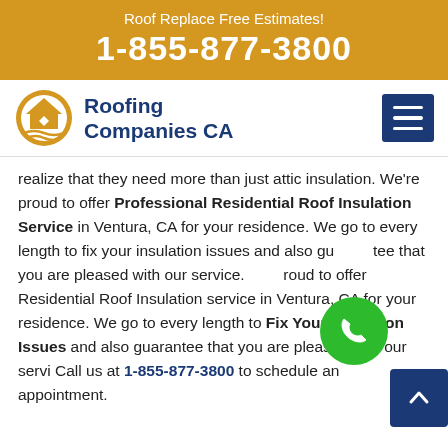Roof Replace Free Estimates!
1-855-877-3800
[Figure (logo): Roofing Companies CA logo with house icon and text]
realize that they need more than just attic insulation. We're proud to offer Professional Residential Roof Insulation Service in Ventura, CA for your residence. We go to every length to fix your insulation issues and also guarantee that you are pleased with our service. We're proud to offer Residential Roof Insulation service in Ventura, CA for your residence. We go to every length to Fix Your Insulation Issues and also guarantee that you are pleased with our service. Call us at 1-855-877-3800 to schedule an appointment.